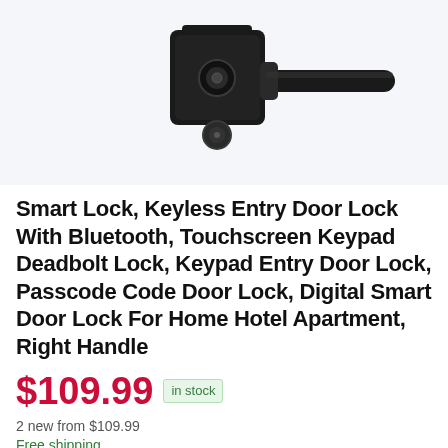[Figure (photo): Product photo of a black smart door lock with handle on a light gray background]
Smart Lock, Keyless Entry Door Lock With Bluetooth, Touchscreen Keypad Deadbolt Lock, Keypad Entry Door Lock, Passcode Code Door Lock, Digital Smart Door Lock For Home Hotel Apartment, Right Handle
$109.99  in stock
2 new from $109.99
Free shipping